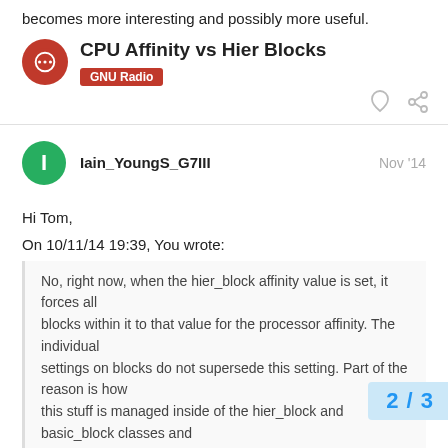becomes more interesting and possibly more useful.
CPU Affinity vs Hier Blocks
GNU Radio
Iain_YoungS_G7III   Nov '14
Hi Tom,
On 10/11/14 19:39, You wrote:
No, right now, when the hier_block affinity value is set, it forces all
blocks within it to that value for the processor affinity. The individual
settings on blocks do not supersede this setting. Part of the reason is how
this stuff is managed inside of the hier_block and
basic_block classes and
how hier_blocks are represented as str…
2 / 3